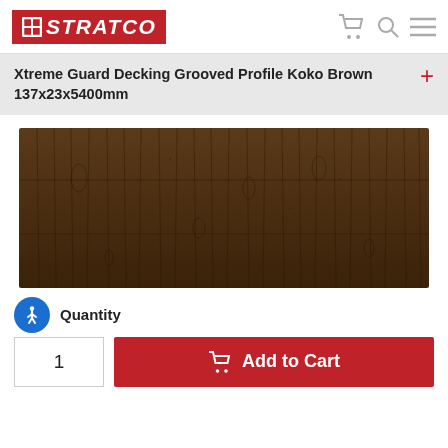[Figure (logo): Stratco logo — red rectangle with white italic bold text 'STRATCO' and a small icon]
[Figure (illustration): Navigation icons: shopping cart, search/magnifier, and hamburger menu]
Xtreme Guard Decking Grooved Profile Koko Brown 137x23x5400mm
[Figure (photo): Product photo of Xtreme Guard Decking Grooved Profile in Koko Brown colour — shows a rectangular composite decking board with wood-grain grooved texture in dark brown colour]
Quantity
1
Add to Cart